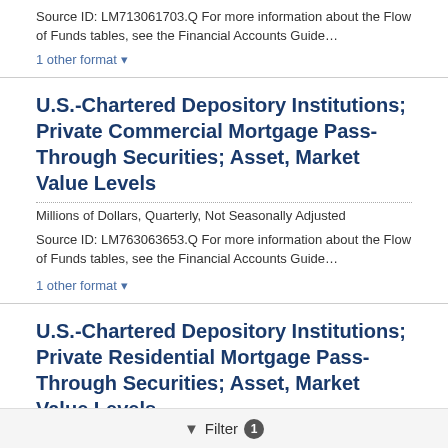Source ID: LM713061703.Q For more information about the Flow of Funds tables, see the Financial Accounts Guide…
1 other format ▾
U.S.-Chartered Depository Institutions; Private Commercial Mortgage Pass-Through Securities; Asset, Market Value Levels
Millions of Dollars, Quarterly, Not Seasonally Adjusted
Source ID: LM763063653.Q For more information about the Flow of Funds tables, see the Financial Accounts Guide…
1 other format ▾
U.S.-Chartered Depository Institutions; Private Residential Mortgage Pass-Through Securities; Asset, Market Value Levels
Millions of Dollars, Quarterly, Not Seasonally Adjusted
Filter 1